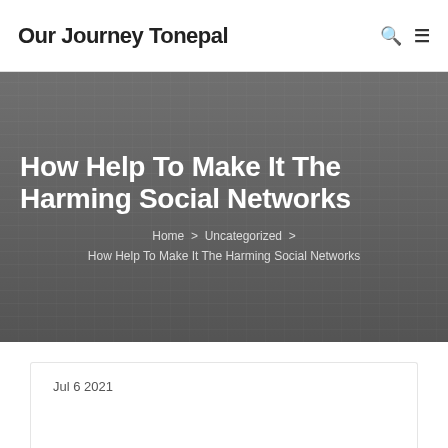Our Journey Tonepal
How Help To Make It The Harming Social Networks
Home > Uncategorized > How Help To Make It The Harming Social Networks
Jul 6 2021